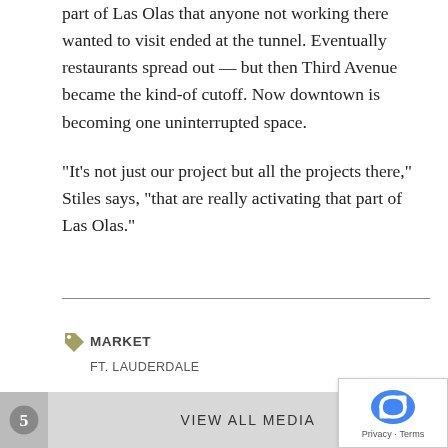part of Las Olas that anyone not working there wanted to visit ended at the tunnel. Eventually restaurants spread out — but then Third Avenue became the kind-of cutoff. Now downtown is becoming one uninterrupted space.
"It's not just our project but all the projects there," Stiles says, "that are really activating that part of Las Olas."
MARKET
FT. LAUDERDALE
VIEW ALL MEDIA